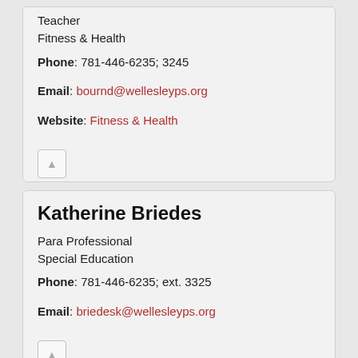Teacher
Fitness & Health
Phone: 781-446-6235; 3245
Email: bournd@wellesleyps.org
Website: Fitness & Health
Katherine Briedes
Para Professional
Special Education
Phone: 781-446-6235; ext. 3325
Email: briedesk@wellesleyps.org
Esther Briskin